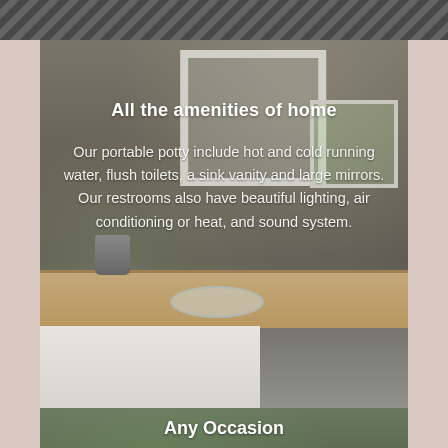[Figure (photo): Top strip showing dark equipment/chairs from above, partial view]
[Figure (photo): Interior of a portable restroom trailer showing a bathroom vanity with mirror, countertop, plant, and sink]
All the amenities of home
Our portable potty include hot and cold running water, flush toilets, a sink vanity and large mirrors. Our restrooms also have beautiful lighting, air conditioning or heat, and sound system.
[Figure (photo): Exterior view of a luxury restroom trailer/RV with trees in background]
Any Occasion